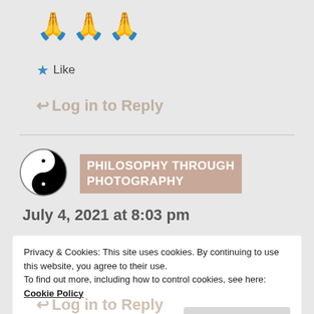🙏🙏🙏
★ Like
↩ Log in to Reply
[Figure (illustration): Yin-yang symbol in black and white circle]
PHILOSOPHY THROUGH PHOTOGRAPHY
July 4, 2021 at 8:03 pm
Privacy & Cookies: This site uses cookies. By continuing to use this website, you agree to their use.
To find out more, including how to control cookies, see here: Cookie Policy
Close and accept
↩ Log in to Reply